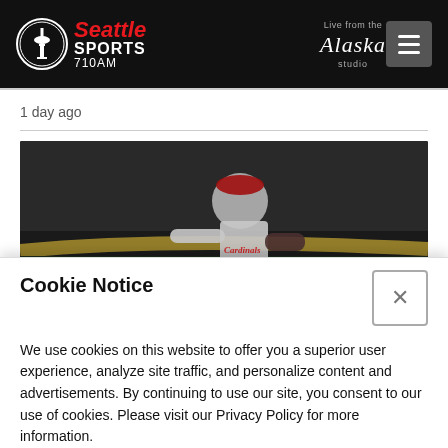[Figure (logo): Seattle Sports 710AM radio station logo with Space Needle icon, red and white text on black background, with Alaska Airlines 'Live from the Alaska studio' branding and hamburger menu button]
1 day ago
[Figure (photo): Baseball pitcher in St. Louis Cardinals grey uniform and red cap mid-pitch on a baseball field at night]
Cookie Notice
We use cookies on this website to offer you a superior user experience, analyze site traffic, and personalize content and advertisements. By continuing to use our site, you consent to our use of cookies. Please visit our Privacy Policy for more information.